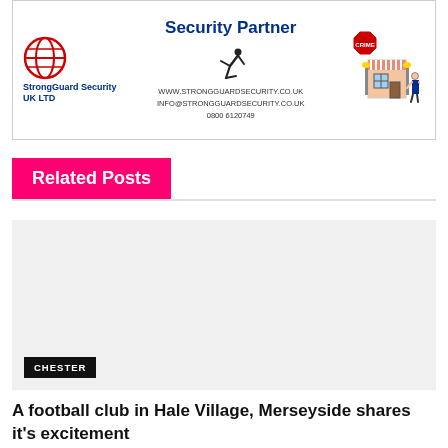[Figure (illustration): StrongGuard Security UK LTD advertisement banner showing company logo with globe, 'Security Partner' text, a running figure silhouette, contact details including website www.strongguardsecurity.co.uk, email info@strongguardsecurity.co.uk, phone 0800 6120749, and a cartoon store with crime sign and security person illustration]
Related Posts
[Figure (photo): Placeholder image (light grey background) for a related article about a football club in Hale Village, Merseyside. A black label reading 'CHESTER' is overlaid at the bottom left.]
A football club in Hale Village, Merseyside shares it's excitement